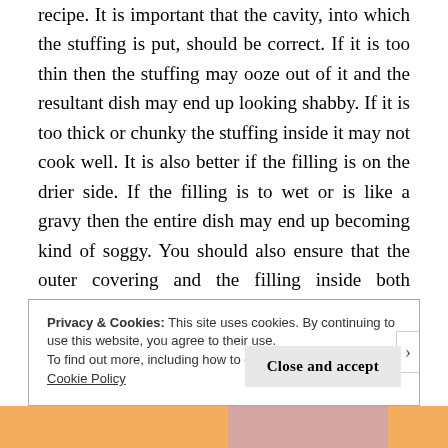recipe. It is important that the cavity, into which the stuffing is put, should be correct. If it is too thin then the stuffing may ooze out of it and the resultant dish may end up looking shabby. If it is too thick or chunky the stuffing inside it may not cook well. It is also better if the filling is on the drier side. If the filling is to wet or is like a gravy then the entire dish may end up becoming kind of soggy. You should also ensure that the outer covering and the filling inside both complement each other in terms of taste, texture and visual appeal.
Privacy & Cookies: This site uses cookies. By continuing to use this website, you agree to their use.
To find out more, including how to control cookies, see here: Cookie Policy